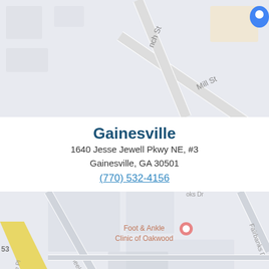[Figure (map): Google Maps view showing street map with roads including Mill St and a branch street, light gray and white road layout on gray background, with a blue location pin in upper right corner]
Gainesville
1640 Jesse Jewell Pkwy NE, #3
Gainesville, GA 30501
(770) 532-4156
[Figure (map): Google Maps view showing Sosebee and Britt Orthodontics location with a red map pin, nearby Foot & Ankle Clinic of Oakwood label, streets including Meeks Dr, Fairbanks Dr, Creekside Pl, and a yellow diagonal road on the left]
Click Here to Submit Photos For Your Virtual Treatment